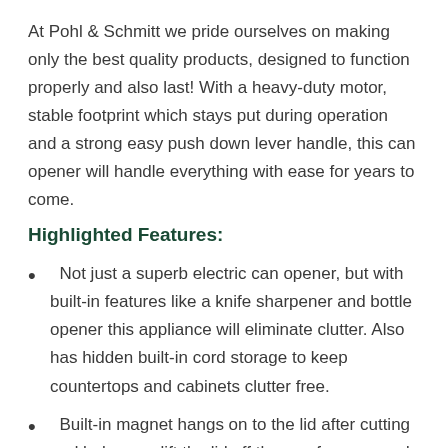At Pohl & Schmitt we pride ourselves on making only the best quality products, designed to function properly and also last! With a heavy-duty motor, stable footprint which stays put during operation and a strong easy push down lever handle, this can opener will handle everything with ease for years to come.
Highlighted Features:
Not just a superb electric can opener, but with built-in features like a knife sharpener and bottle opener this appliance will eliminate clutter. Also has hidden built-in cord storage to keep countertops and cabinets clutter free.
Built-in magnet hangs on to the lid after cutting and helps you lift the lid off the can for save and hands...